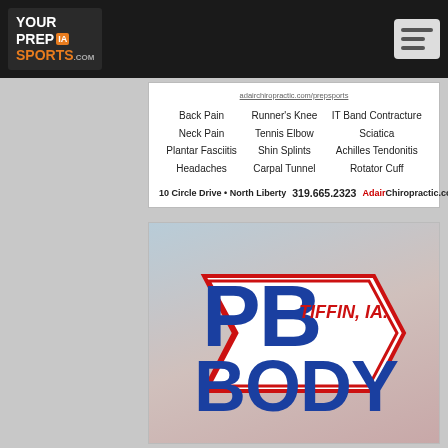[Figure (logo): YourPrepSports.com logo with Iowa state outline and menu icon in dark navigation bar]
[Figure (infographic): Adair Chiropractic advertisement listing conditions: Back Pain, Neck Pain, Plantar Fasciitis, Headaches, Runner's Knee, Tennis Elbow, Shin Splints, Carpal Tunnel, IT Band Contracture, Sciatica, Achilles Tendonitis, Rotator Cuff. Address: 10 Circle Drive - North Liberty. Phone: 319.665.2323. Website: AdairChiropractic.com]
[Figure (logo): PB Body logo with large blue bold letters PB BODY and red arrow/chevron design with TIFFIN, IA. text, shown over a blurred car background]